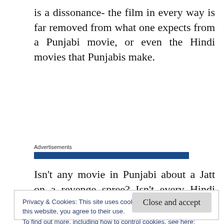is a dissonance- the film in every way is far removed from what one expects from a Punjabi movie, or even the Hindi movies that Punjabis make.
Advertisements
Isn’t any movie in Punjabi about a Jatt on a revenge spree? Isn’t every Hindi movie with
Privacy & Cookies: This site uses cookies. By continuing to use this website, you agree to their use.
To find out more, including how to control cookies, see here:
Cookie Policy
Close and accept